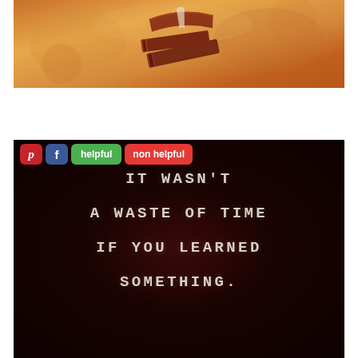[Figure (illustration): Banner image with warm orange/brown gradient background showing stacked books illustration, resembling an old parchment or aged paper aesthetic]
[Figure (screenshot): Dark maroon/near-black background panel with social sharing buttons (Pinterest, Facebook, helpful, non helpful) at the top, and inspirational quote text reading: IT WASN'T A WASTE OF TIME IF YOU LEARNED SOMETHING.]